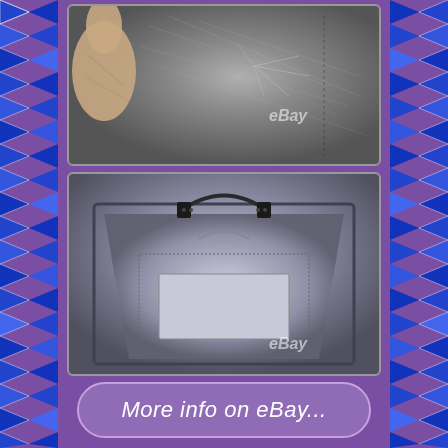[Figure (photo): Close-up photo of a scratched metalwork surface being held by a hand, with eBay watermark]
[Figure (photo): Photo of an ornate metalwork basket/tray viewed from above with decorative handle, showing quilted interior pattern, with eBay watermark]
[Figure (screenshot): Purple rounded rectangle button with text 'More info on eBay...' in white italic font]
Intricate Art Metalwork Basket by Renowned Middletown Plate Co. Detailed Display of Crocodile, Dragonfly, Large Bird, Floral & More. Marked 1816 MIDDLETOWN PLATE CO QUADRUPLE PLATE HARD WHITE METAL